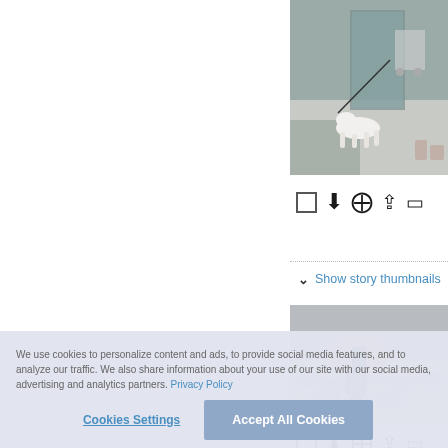[Figure (photo): A dog on a leash in a shopping area, partial top view]
Show story thumbnails
[Figure (photo): Person handling equipment on cobblestone pavement]
Show story thumbnails
We use cookies to personalize content and ads, to provide social media features, and to analyze our traffic. We also share information about your use of our site with our social media, advertising and analytics partners. Privacy Policy
Cookies Settings
Accept All Cookies